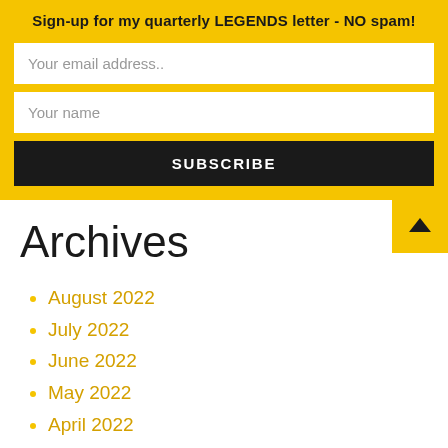Sign-up for my quarterly LEGENDS letter - NO spam!
Your email address..
Your name
SUBSCRIBE
Archives
August 2022
July 2022
June 2022
May 2022
April 2022
March 2022
February 2022